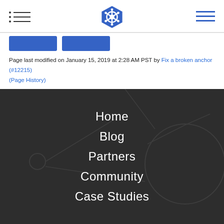[Figure (logo): Kubernetes logo - blue hexagonal ship wheel icon centered in top navigation bar]
Page last modified on January 15, 2019 at 2:28 AM PST by Fix a broken anchor (#12215)
(Page History)
Home
Blog
Partners
Community
Case Studies